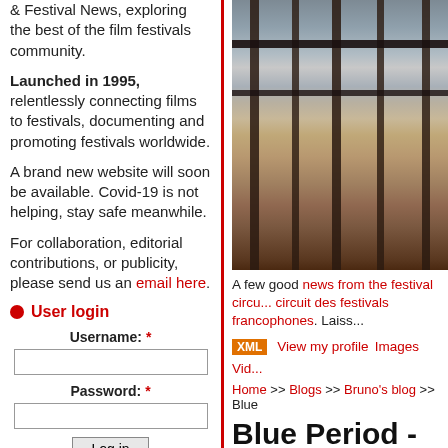& Festival News, exploring the best of the film festivals community.
Launched in 1995, relentlessly connecting films to festivals, documenting and promoting festivals worldwide.
A brand new website will soon be available. Covid-19 is not helping, stay safe meanwhile.
For collaboration, editorial contributions, or publicity, please send us an email here.
User login
Username: *
Password: *
Log in
Create new account
Request new password
[Figure (photo): Photo of wooden pier/boardwalk with metal railings and ocean waves visible in background, viewed from above at an angle.]
A few good news from the festival circu... circuit des festivals francophones. Laiss...
XML  View my profile    Images    Vid...
Home >> Blogs >> Bruno's blog >> Blue
Blue Period - Your